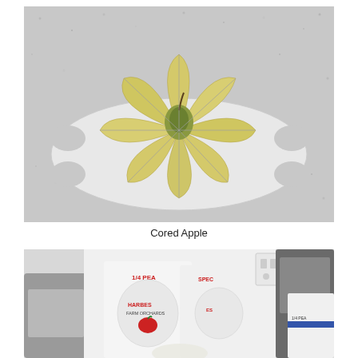[Figure (photo): A sliced/cored apple arranged in a fan pattern on a white plastic apple slicer/corer device, placed on a grey speckled surface.]
Cored Apple
[Figure (photo): Bags of apples from Harbes Farm Orchards on chairs, labeled '1/4 PEA' and similar, with an electrical outlet and dark chairs visible in the background.]